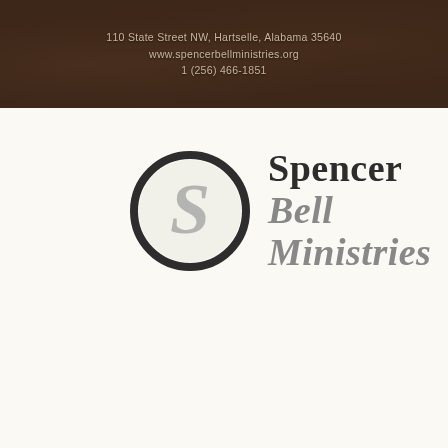[Figure (photo): Dark banner header with a painting/photo background (appears to show a dinner or gathering scene) overlaid with semi-transparent dark tint, containing centered contact text for Spencer Bell Ministries]
110 State Street NW, Hartselle, Alabama 35640
www.spencerbellministries.org
1 (256) 466-1851
[Figure (logo): Spencer Bell Ministries logo: a dark circle with a stylized gray S inside, followed by the text 'Spencer' in bold dark serif and 'Bell Ministries' in bold italic gray serif]